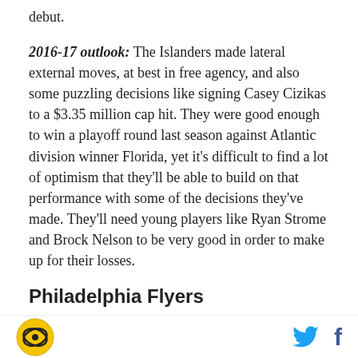debut.
2016-17 outlook: The Islanders made lateral external moves, at best in free agency, and also some puzzling decisions like signing Casey Cizikas to a $3.35 million cap hit. They were good enough to win a playoff round last season against Atlantic division winner Florida, yet it's difficult to find a lot of optimism that they'll be able to build on that performance with some of the decisions they've made. They'll need young players like Ryan Strome and Brock Nelson to be very good in order to make up for their losses.
Philadelphia Flyers
2015-16 Record: 41-27-14, 5th in division and EC's